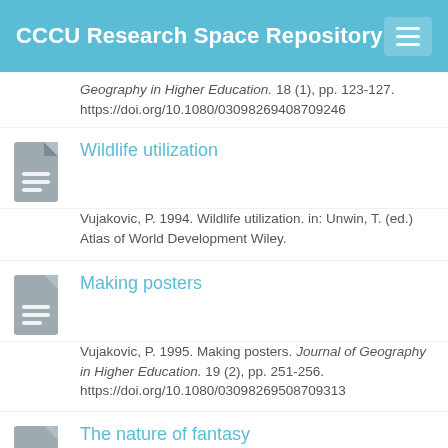CCCU Research Space Repository
Geography in Higher Education. 18 (1), pp. 123-127. https://doi.org/10.1080/03098269408709246
Wildlife utilization
Vujakovic, P. 1994. Wildlife utilization. in: Unwin, T. (ed.) Atlas of World Development Wiley.
Making posters
Vujakovic, P. 1995. Making posters. Journal of Geography in Higher Education. 19 (2), pp. 251-256. https://doi.org/10.1080/03098269508709313
The nature of fantasy
Vujakovic, P. 1996. The nature of fantasy